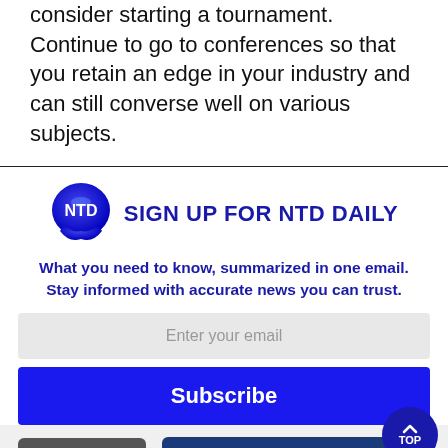consider starting a tournament. Continue to go to conferences so that you retain an edge in your industry and can still converse well on various subjects.
[Figure (logo): NTD logo — blue speech bubble circle with 'NTD' text in white]
SIGN UP FOR NTD DAILY
What you need to know, summarized in one email. Stay informed with accurate news you can trust.
Enter your email
Subscribe
Share
Comments